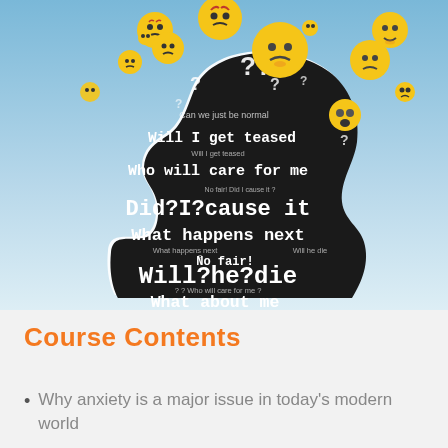[Figure (illustration): A silhouette of a child's head profile (black) against a blue-to-white gradient background. The head is filled with white text questions and worries: 'Can we just be normal', 'Will I get teased', 'Who will care for me', 'Did I cause it?', 'No fair!', 'What happens next', 'Will he die', 'No fair!', 'Who will care for me?', 'What about me'. Yellow sad/worried emoji faces float out of the top of the head. Question marks scattered throughout.]
Course Contents
Why anxiety is a major issue in today's modern world